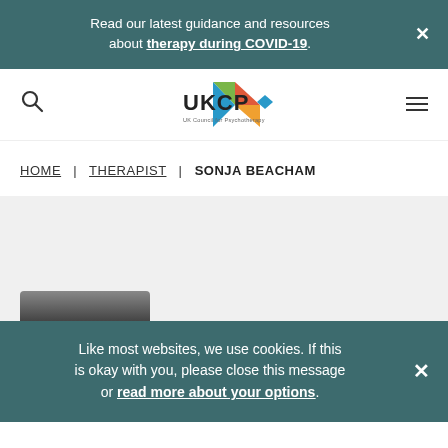Read our latest guidance and resources about therapy during COVID-19.
[Figure (logo): UKCP UK Council for Psychotherapy logo with multicolored star/kite graphic]
HOME | THERAPIST | SONJA BEACHAM
[Figure (photo): Partial photo of therapist Sonja Beacham, partially visible at bottom of screen]
Like most websites, we use cookies. If this is okay with you, please close this message or read more about your options.